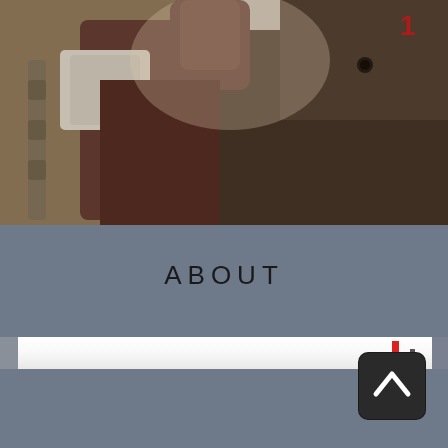[Figure (photo): Close-up photo of a person's arm and torso, appears to be holding or near a chain, wearing a brownish-gray shirt. The image is cropped showing mainly the arm/hand area and upper body in a dramatic close-up style.]
ABOUT
[Figure (photo): A thin horizontal strip image showing a partially visible scene with a white/light background and a small red element visible near the right side.]
[Figure (other): Dark rounded square button with an upward-pointing chevron/caret arrow icon, used as a scroll-to-top navigation button.]